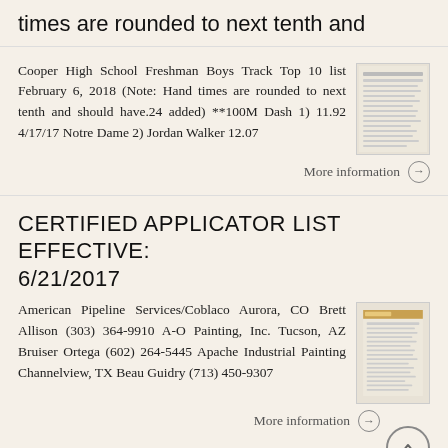times are rounded to next tenth and
Cooper High School Freshman Boys Track Top 10 list February 6, 2018 (Note: Hand times are rounded to next tenth and should have.24 added) **100M Dash 1) 11.92 4/17/17 Notre Dame 2) Jordan Walker 12.07
More information →
CERTIFIED APPLICATOR LIST EFFECTIVE: 6/21/2017
American Pipeline Services/Coblaco Aurora, CO Brett Allison (303) 364-9910 A-O Painting, Inc. Tucson, AZ Bruiser Ortega (602) 264-5445 Apache Industrial Painting Channelview, TX Beau Guidry (713) 450-9307
More information →
PERSON COUNTY, NORTH CAROLINA TAX